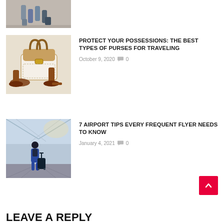[Figure (photo): Partial photo of people walking with luggage, cropped at top]
[Figure (photo): Photo of a tan and white handbag with brown leather handles and brown high-heel shoes]
PROTECT YOUR POSSESSIONS: THE BEST TYPES OF PURSES FOR TRAVELING
October 9, 2020  0
[Figure (photo): Photo of a person with rolling luggage walking through an airport terminal]
7 AIRPORT TIPS EVERY FREQUENT FLYER NEEDS TO KNOW
January 4, 2021  0
LEAVE A REPLY